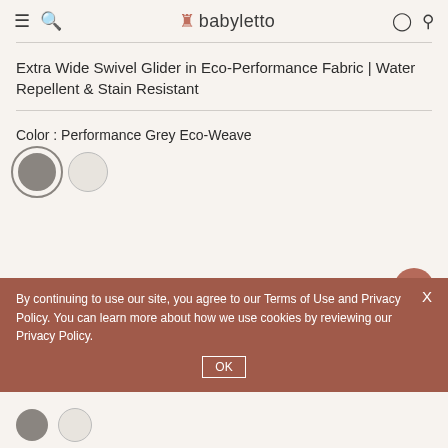babyletto
Extra Wide Swivel Glider in Eco-Performance Fabric | Water Repellent & Stain Resistant
Color : Performance Grey Eco-Weave
[Figure (other): Two color swatches: grey circle (selected, with outline) and cream/off-white circle]
By continuing to use our site, you agree to our Terms of Use and Privacy Policy. You can learn more about how we use cookies by reviewing our Privacy Policy.
[Figure (other): Two small color swatches at bottom: grey and cream circles]